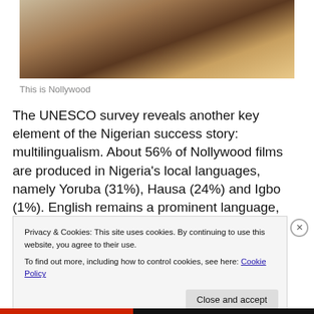[Figure (photo): Close-up photo of a person looking through binoculars or hands raised to face, wearing a yellow shirt, outdoors near water]
This is Nollywood
The UNESCO survey reveals another key element of the Nigerian success story: multilingualism. About 56% of Nollywood films are produced in Nigeria's local languages, namely Yoruba (31%), Hausa (24%) and Igbo (1%). English remains a prominent language, accounting for
Privacy & Cookies: This site uses cookies. By continuing to use this website, you agree to their use.
To find out more, including how to control cookies, see here: Cookie Policy
Close and accept